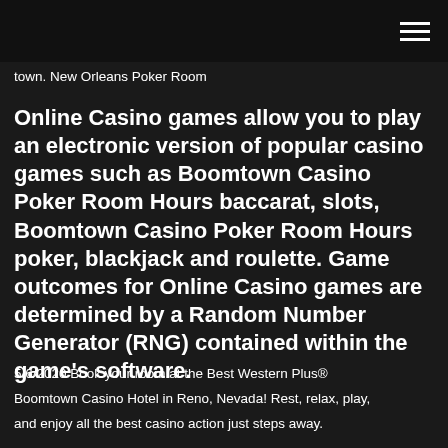town. New Orleans Poker Room
Online Casino games allow you to play an electronic version of popular casino games such as Boomtown Casino Poker Room Hours baccarat, slots, Boomtown Casino Poker Room Hours poker, blackjack and roulette. Game outcomes for Online Casino games are determined by a Random Number Generator (RNG) contained within the game's software.
5/6/2020 Book your room at the Best Western Plus® Boomtown Casino Hotel in Reno, Nevada! Rest, relax, play, and enjoy all the best casino action just steps away.